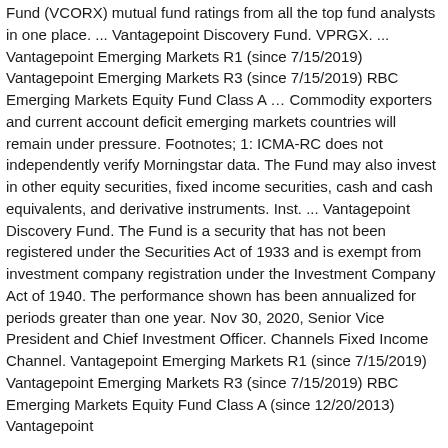Fund (VCORX) mutual fund ratings from all the top fund analysts in one place. ... Vantagepoint Discovery Fund. VPRGX. ... Vantagepoint Emerging Markets R1 (since 7/15/2019) Vantagepoint Emerging Markets R3 (since 7/15/2019) RBC Emerging Markets Equity Fund Class A … Commodity exporters and current account deficit emerging markets countries will remain under pressure. Footnotes; 1: ICMA-RC does not independently verify Morningstar data. The Fund may also invest in other equity securities, fixed income securities, cash and cash equivalents, and derivative instruments. Inst. ... Vantagepoint Discovery Fund. The Fund is a security that has not been registered under the Securities Act of 1933 and is exempt from investment company registration under the Investment Company Act of 1940. The performance shown has been annualized for periods greater than one year. Nov 30, 2020, Senior Vice President and Chief Investment Officer. Channels Fixed Income Channel. Vantagepoint Emerging Markets R1 (since 7/15/2019) Vantagepoint Emerging Markets R3 (since 7/15/2019) RBC Emerging Markets Equity Fund Class A (since 12/20/2013) Vantagepoint